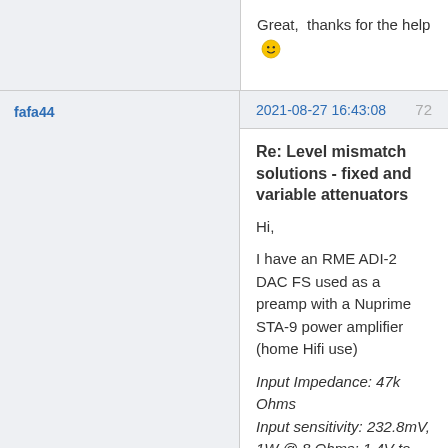Great,  thanks for the help 🙂
fafa44
2021-08-27 16:43:08
72
Re: Level mismatch solutions - fixed and variable attenuators
Hi,

I have an RME ADI-2 DAC FS used as a preamp with a Nuprime STA-9 power amplifier (home Hifi use)
Input Impedance: 47k Ohms
Input sensitivity: 232.8mV, 1W @ 8 Ohms; 1.4V to rated power
Gain: x 22

I listen music at low volume and use RCA cables, with
Auto Ref Level = ON  (so, always at -5dBu at my volume level)
Loudness = ON  (one of the reasons I hav...